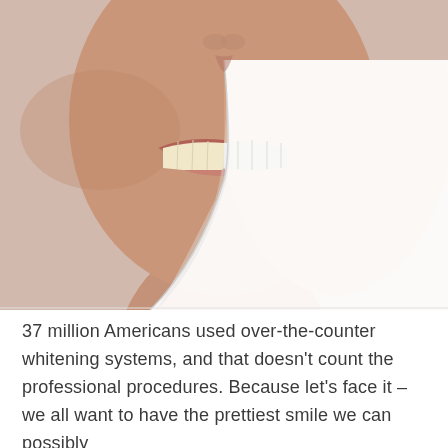[Figure (photo): Close-up photo of a woman's lower face and neck showing a bright white smile. A page-peel effect reveals whitened teeth on the right side versus the natural smile on the left, illustrating a teeth whitening before/after concept.]
37 million Americans used over-the-counter whitening systems, and that doesn't count the professional procedures. Because let's face it – we all want to have the prettiest smile we can possibly